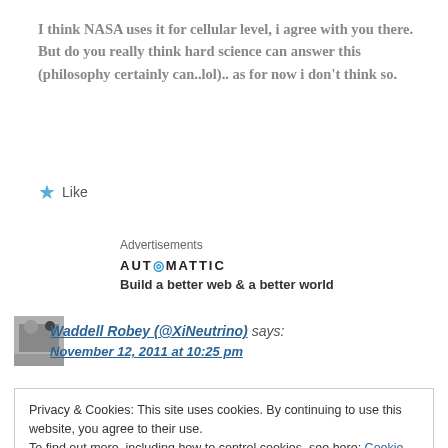I think NASA uses it for cellular level, i agree with you there. But do you really think hard science can answer this (philosophy certainly can..lol).. as for now i don't think so.
★ Like
Advertisements
AUTOMATTIC
Build a better web & a better world
Waddell Robey (@XiNeutrino) says: November 12, 2011 at 10:25 pm
Privacy & Cookies: This site uses cookies. By continuing to use this website, you agree to their use. To find out more, including how to control cookies, see here: Cookie Policy
Close and accept
chemical-physical array each of which contributes to